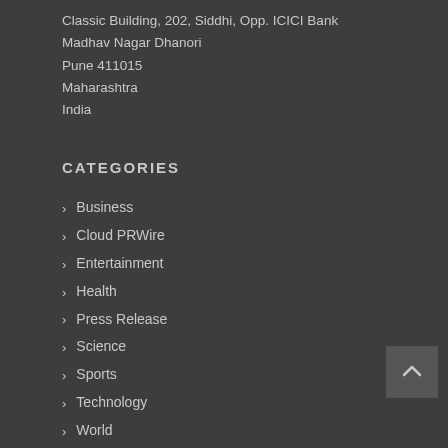Classic Building, 202, Siddhi, Opp. ICICI Bank
Madhav Nagar Dhanori
Pune 411015
Maharashtra
India
CATEGORIES
Business
Cloud PRWire
Entertainment
Health
Press Release
Science
Sports
Technology
World
ABOUT THIS SITE